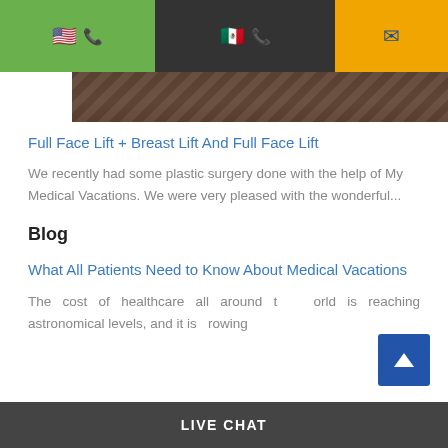Navigation bar with US flag + phone, Mexico flag + phone, and email icons
[Figure (photo): Partial roof/tile image strip visible below navigation]
Full Face Lift + Breast Lift And Full Face Lift
We recently had some plastic surgery done with the help of My Medical Vacations. We were very pleased with the wonderful...
Blog
What All Patients Need to Know About Medical Vacations
The cost of healthcare all around the world is reaching astronomical levels, and it is growing
LIVE CHAT